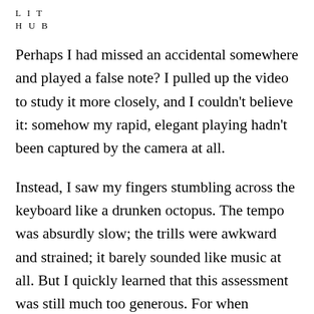L I T
H U B
Perhaps I had missed an accidental somewhere and played a false note? I pulled up the video to study it more closely, and I couldn't believe it: somehow my rapid, elegant playing hadn't been captured by the camera at all.
Instead, I saw my fingers stumbling across the keyboard like a drunken octopus. The tempo was absurdly slow; the trills were awkward and strained; it barely sounded like music at all. But I quickly learned that this assessment was still much too generous. For when Christopher wrote back later in the day, his tone was equal parts pity, alarm, and professional disdain.